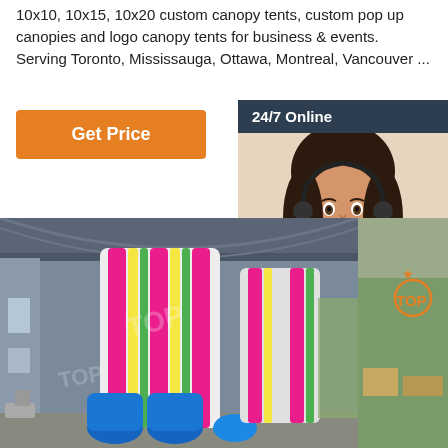10x10, 10x15, 10x20 custom canopy tents, custom pop up canopies and logo canopy tents for business & events. Serving Toronto, Mississauga, Ottawa, Montreal, Vancouver ...
Get Price
[Figure (photo): Chat widget with woman wearing headset. Header: '24/7 Online'. Bottom text: 'Click here for free chat!' and orange 'QUOTATION' button.]
[Figure (photo): Large inflatable slide structure inside a warehouse/factory, with blue, pink, yellow and green colors. Watermark 'TOP' visible. Outdoor trees visible in background right.]